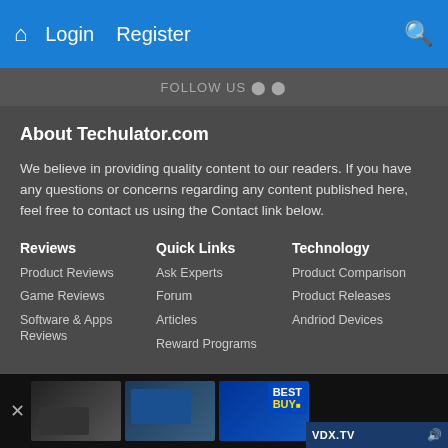Login   Register
About Techulator.com
We believe in providing quality content to our readers. If you have any questions or concerns regarding any content published here, feel free to contact us using the Contact link below.
Reviews
Product Reviews
Game Reviews
Software & Apps Reviews
Quick Links
Ask Experts
Forum
Articles
Reward Programs
Technology
Product Comparison
Product Releases
Andriod Devices
[Figure (screenshot): Advertisement bar at the bottom showing thumbnail images and Best Buy logo with VDX.TV label]